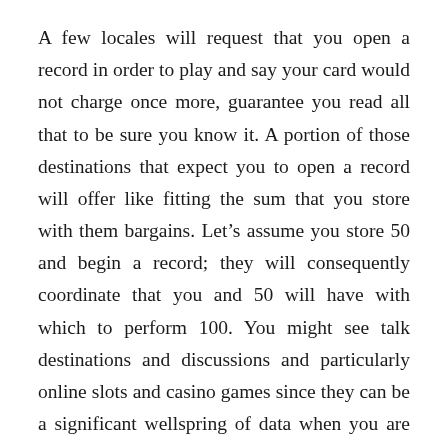A few locales will request that you open a record in order to play and say your card would not charge once more, guarantee you read all that to be sure you know it. A portion of those destinations that expect you to open a record will offer like fitting the sum that you store with them bargains. Let's assume you store 50 and begin a record; they will consequently coordinate that you and 50 will have with which to perform 100. You might see talk destinations and discussions and particularly online slots and casino games since they can be a significant wellspring of data when you are looking for the best locales. This can be helpful assuming you are presently looking. There are Loads of Gaming sites Online; you need to make a move to try out them.
Time's these Destinations will offer some sort of unique